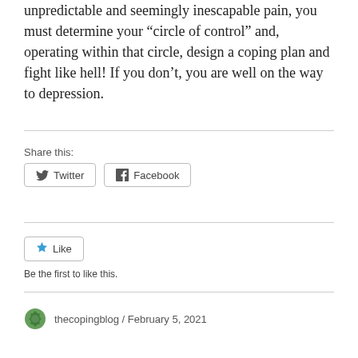unpredictable and seemingly inescapable pain, you must determine your “circle of control” and, operating within that circle, design a coping plan and fight like hell! If you don’t, you are well on the way to depression.
Share this:
[Figure (other): Twitter and Facebook share buttons]
[Figure (other): Like button with star icon]
Be the first to like this.
thecopingblog / February 5, 2021